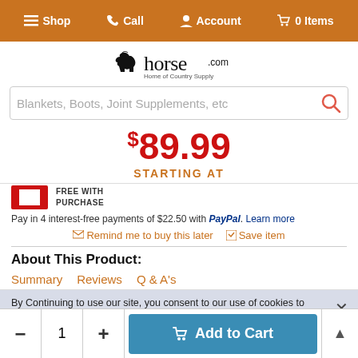Shop | Call | Account | 0 Items
[Figure (logo): horse.com - Home of Country Supply logo with horse silhouette]
Blankets, Boots, Joint Supplements, etc (search bar placeholder)
$89.99
STARTING AT
FREE WITH PURCHASE
Pay in 4 interest-free payments of $22.50 with PayPal. Learn more
Remind me to buy this later   Save item
About This Product:
Summary
Reviews
Q & A's
By Continuing to use our site, you consent to our use of cookies to improve your experience. Learn more
- 1 + Add to Cart